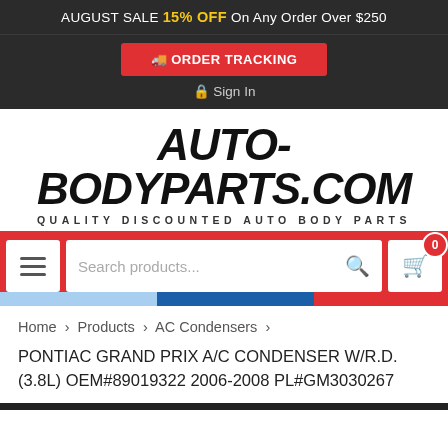AUGUST SALE 15% OFF On Any Order Over $250
ORDER TRACKING
Sign In
[Figure (logo): AUTO-BODYPARTS.COM logo in bold italic black text with red underline and tagline QUALITY DISCOUNTED AUTO BODY PARTS]
[Figure (screenshot): Navigation search bar with hamburger menu, search input placeholder 'Search products...', search icon, and cart icon with badge showing 0]
Home > Products > AC Condensers >
PONTIAC GRAND PRIX A/C CONDENSER W/R.D. (3.8L) OEM#89019322 2006-2008 PL#GM3030267